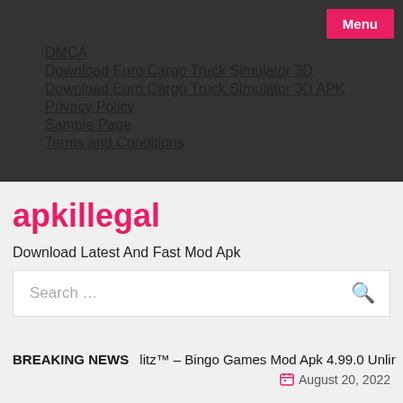Menu
DMCA
Download Euro Cargo Truck Simulator 3D
Download Euro Cargo Truck Simulator 3D APK
Privacy Policy
Sample Page
Terms and Conditions
apkillegal
Download Latest And Fast Mod Apk
Search …
BREAKING NEWS   litz™ – Bingo Games Mod Apk 4.99.0 Unlir
August 20, 2022